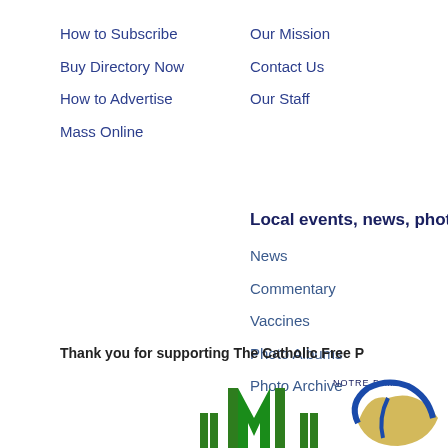How to Subscribe
Our Mission
Buy Directory Now
Contact Us
How to Advertise
Our Staff
Mass Online
Local events, news, photos
News
Commentary
Vaccines
Photo Albums
Photo Archive
Thank you for supporting The Catholic Free P
[Figure (logo): Green IIM logo letters]
[Figure (logo): Notre Dame partial logo with circular emblem]